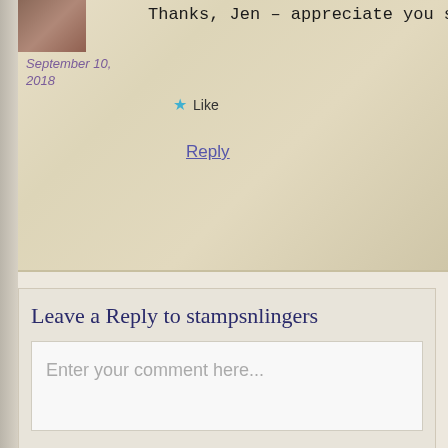Thanks, Jen – appreciate you stopping b
September 10, 2018
Like
Reply
Leave a Reply to stampsnlingers
Enter your comment here...